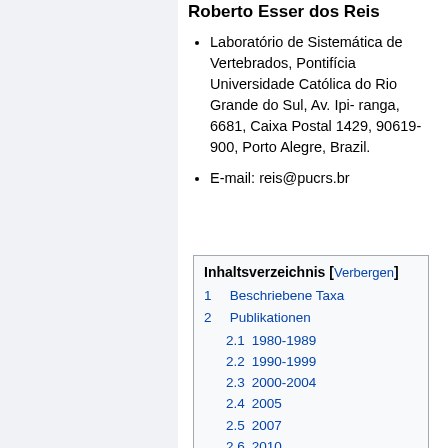Roberto Esser dos Reis
Laboratório de Sistemática de Vertebrados, Pontifícia Universidade Católica do Rio Grande do Sul, Av. Ipi- ranga, 6681, Caixa Postal 1429, 90619-900, Porto Alegre, Brazil.
E-mail: reis@pucrs.br
| Inhaltsverzeichnis [Verbergen] |
| 1  Beschriebene Taxa |
| 2  Publikationen |
| 2.1  1980-1989 |
| 2.2  1990-1999 |
| 2.3  2000-2004 |
| 2.4  2005 |
| 2.5  2007 |
| 2.6  2010 |
| 2.7  2011 |
| 2.8  2012 |